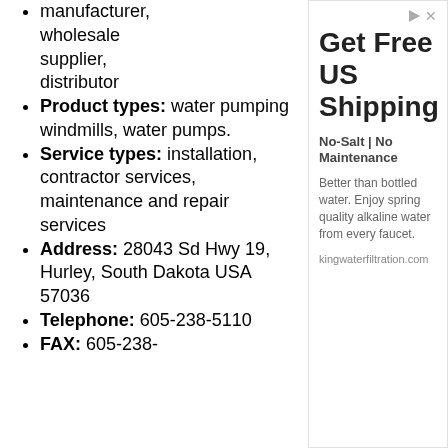manufacturer, wholesale supplier, distributor
Product types: water pumping windmills, water pumps.
Service types: installation, contractor services, maintenance and repair services
Address: 28043 Sd Hwy 19, Hurley, South Dakota USA 57036
Telephone: 605-238-5110
FAX: 605-238-
[Figure (other): Advertisement panel: Get Free US Shipping. No-Salt | No Maintenance. Better than bottled water. Enjoy spring quality alkaline water from every faucet. kingwaterfiltration.com]